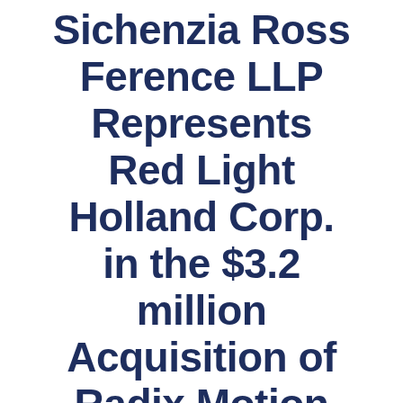Sichenzia Ross Ference LLP Represents Red Light Holland Corp. in the $3.2 million Acquisition of Radix Motion Inc.